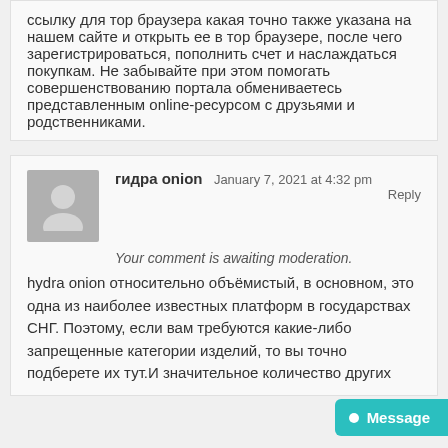ссылку для тор браузера какая точно также указана на нашем сайте и открыть ее в тор браузере, после чего зарегистрироваться, пополнить счет и наслаждаться покупкам. Не забывайте при этом помогать совершенствованию портала обмениваетесь представленным online-ресурсом с друзьями и родственниками.
гидра onion   January 7, 2021 at 4:32 pm   Reply
Your comment is awaiting moderation.
hydra onion относительно объёмистый, в основном, это одна из наиболее известных платформ в государствах СНГ. Поэтому, если вам требуются какие-либо запрещенные категории изделий, то вы точно подберете их тут.И значительное количество других